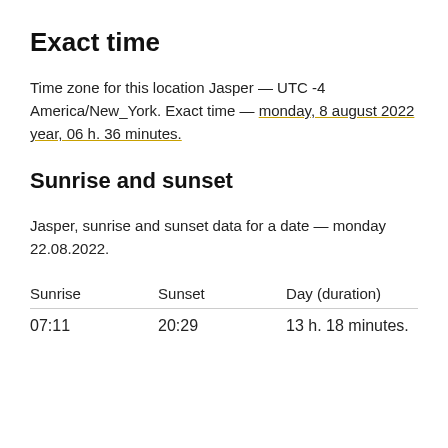Exact time
Time zone for this location Jasper — UTC -4 America/New_York. Exact time — monday, 8 august 2022 year, 06 h. 36 minutes.
Sunrise and sunset
Jasper, sunrise and sunset data for a date — monday 22.08.2022.
| Sunrise | Sunset | Day (duration) |
| --- | --- | --- |
| 07:11 | 20:29 | 13 h. 18 minutes. |